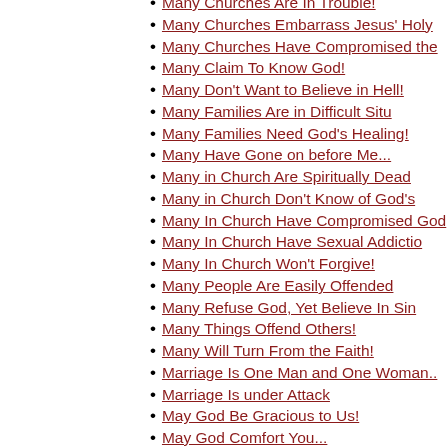Many Churches Are In Trouble!
Many Churches Embarrass Jesus' Holy
Many Churches Have Compromised the
Many Claim To Know God!
Many Don't Want to Believe in Hell!
Many Families Are in Difficult Situ
Many Families Need God's Healing!
Many Have Gone on before Me...
Many in Church Are Spiritually Dead
Many in Church Don't Know of God's
Many In Church Have Compromised God
Many In Church Have Sexual Addictio
Many In Church Won't Forgive!
Many People Are Easily Offended
Many Refuse God, Yet Believe In Sin
Many Things Offend Others!
Many Will Turn From the Faith!
Marriage Is One Man and One Woman..
Marriage Is under Attack
May God Be Gracious to Us!
May God Comfort You...
May God Touch You!
May he Love of Jesus Touch You!
May I Be An Example For Jesus!
May I Daily Love and Serve Jesus!
May I Have A Burden for the Lost!
May I Introduce Dr. Frink?
May I Lift Up Jesus' Name!
May I Yield
May It Be My Desire to Follow Jesus